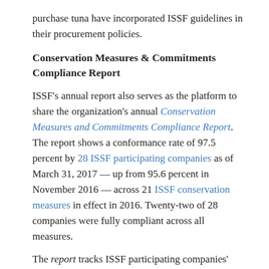purchase tuna have incorporated ISSF guidelines in their procurement policies.
Conservation Measures & Commitments Compliance Report
ISSF's annual report also serves as the platform to share the organization's annual Conservation Measures and Commitments Compliance Report. The report shows a conformance rate of 97.5 percent by 28 ISSF participating companies as of March 31, 2017 — up from 95.6 percent in November 2016 — across 21 ISSF conservation measures in effect in 2016. Twenty-two of 28 companies were fully compliant across all measures.
The report tracks ISSF participating companies' progress in conforming with measures like these:
Tracing tuna products by fishing and shipment vessels, fish species, ocean, and other factors